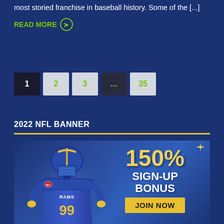most storied franchise in baseball history. Some of the [...]
READ MORE ➔
[Figure (other): Pagination navigation with buttons: 1 (active/dark), 2, 3, ..., 35]
2022 NFL BANNER
[Figure (infographic): NFL betting banner featuring LA Rams player #99 in purple/gold uniform and helmet. Text reads '150% SIGN-UP BONUS' with a 'JOIN NOW' button on yellow background.]